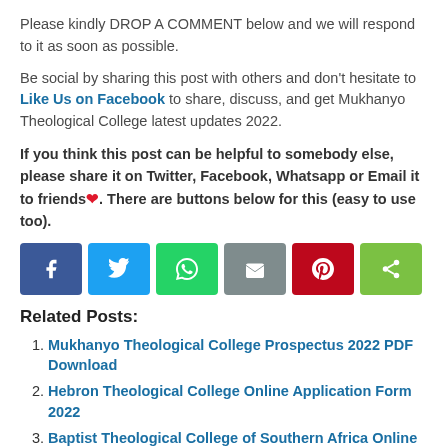Please kindly DROP A COMMENT below and we will respond to it as soon as possible.
Be social by sharing this post with others and don't hesitate to Like Us on Facebook to share, discuss, and get Mukhanyo Theological College latest updates 2022.
If you think this post can be helpful to somebody else, please share it on Twitter, Facebook, Whatsapp or Email it to friends❤. There are buttons below for this (easy to use too).
[Figure (infographic): Social share buttons: Facebook (blue), Twitter (light blue), WhatsApp (green), Email (grey), Pinterest (red), Share (yellow-green)]
Related Posts:
Mukhanyo Theological College Prospectus 2022 PDF Download
Hebron Theological College Online Application Form 2022
Baptist Theological College of Southern Africa Online Application Form 2022